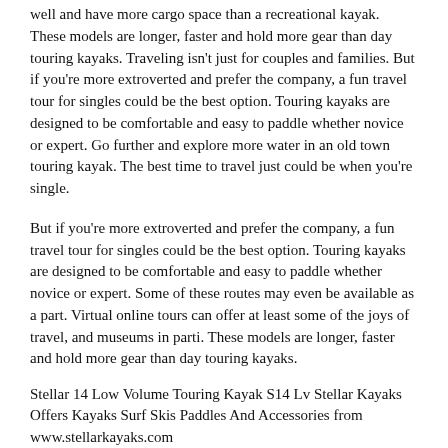well and have more cargo space than a recreational kayak. These models are longer, faster and hold more gear than day touring kayaks. Traveling isn't just for couples and families. But if you're more extroverted and prefer the company, a fun travel tour for singles could be the best option. Touring kayaks are designed to be comfortable and easy to paddle whether novice or expert. Go further and explore more water in an old town touring kayak. The best time to travel just could be when you're single.
But if you're more extroverted and prefer the company, a fun travel tour for singles could be the best option. Touring kayaks are designed to be comfortable and easy to paddle whether novice or expert. Some of these routes may even be available as a part. Virtual online tours can offer at least some of the joys of travel, and museums in parti. These models are longer, faster and hold more gear than day touring kayaks.
Stellar 14 Low Volume Touring Kayak S14 Lv Stellar Kayaks Offers Kayaks Surf Skis Paddles And Accessories from www.stellarkayaks.com
The best time to travel just could be when you're single. They also track well and have more cargo space than a recreational kayak.